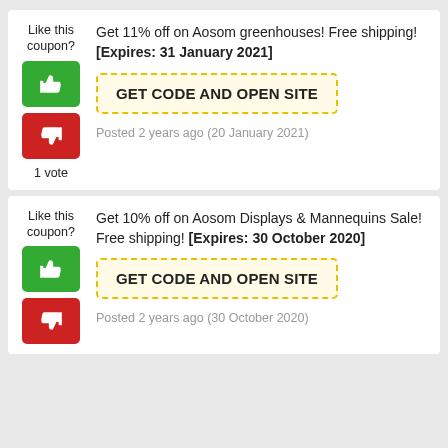Like this coupon?
Get 11% off on Aosom greenhouses! Free shipping! [Expires: 31 January 2021]
GET CODE AND OPEN SITE
Posted 2 years ago (20 January 2021)
1 vote
Like this coupon?
Get 10% off on Aosom Displays & Mannequins Sale! Free shipping! [Expires: 30 October 2020]
GET CODE AND OPEN SITE
Posted 2 years ago (30 October 2020)